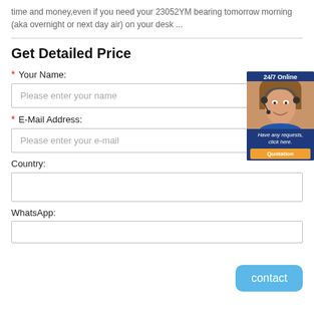time and money, even if you need your 23052YM bearing tomorrow morning (aka overnight or next day air) on your desk ...
Get Detailed Price
* Your Name:
Please enter your name
* E-Mail Address:
Please enter your e-mail
Country:
WhatsApp:
[Figure (illustration): Customer service representative widget with '24/7 Online' header, photo of smiling woman with headset, tagline 'Have any requests, click here.' and orange 'Quotation' button]
contact